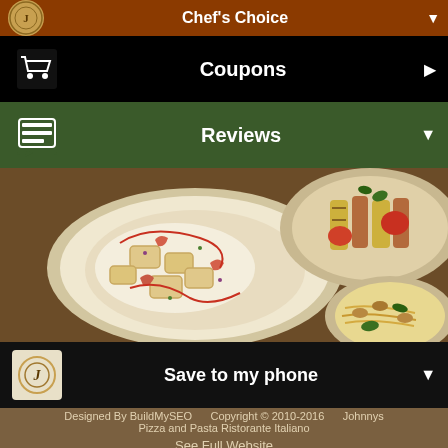Chef's Choice
Coupons
Reviews
[Figure (photo): Food photo showing plates of Italian pasta dishes including ravioli with shrimp in cream sauce, a grilled vegetable dish, and spaghetti with clams and basil]
Save to my phone
Designed By BuildMySEO     Copyright © 2010-2016     Johnnys Pizza and Pasta Ristorante Italiano
See Full Website